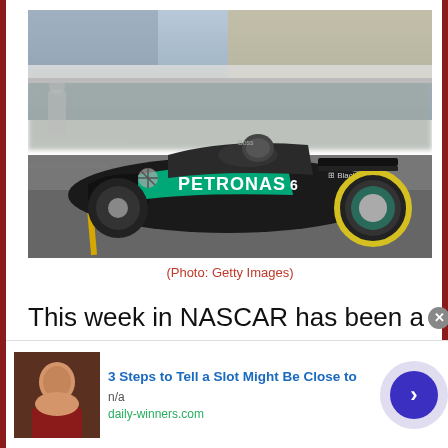[Figure (photo): A Mercedes-AMG Petronas Formula 1 car with PETRONAS and BlackBerry livery in a pit lane, motion blurred background suggesting speed, with distinctive yellow-banded tires visible.]
(Photo: Getty Images)
This week in NASCAR has been a non-stop
[Figure (photo): Advertisement banner: thumbnail photo of an older man, with text '3 Steps to Tell a Slot Might Be Close to', source 'n/a', 'daily-winners.com', and a blue circular arrow button on the right.]